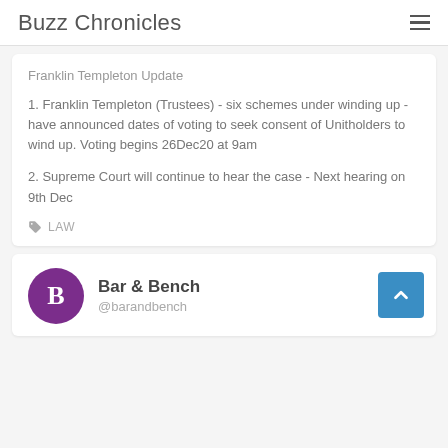Buzz Chronicles
Franklin Templeton Update
1. Franklin Templeton (Trustees) - six schemes under winding up - have announced dates of voting to seek consent of Unitholders to wind up. Voting begins 26Dec20 at 9am
2. Supreme Court will continue to hear the case - Next hearing on 9th Dec
LAW
Bar & Bench @barandbench